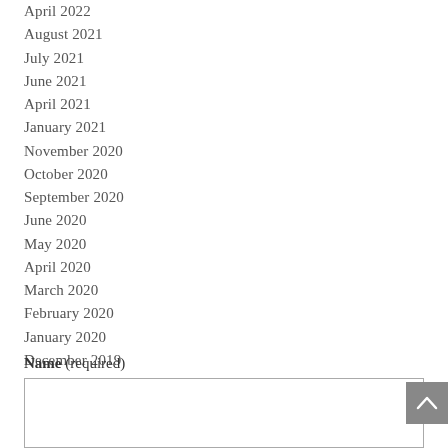April 2022
August 2021
July 2021
June 2021
April 2021
January 2021
November 2020
October 2020
September 2020
June 2020
May 2020
April 2020
March 2020
February 2020
January 2020
December 2019
November 2019
Name (required)